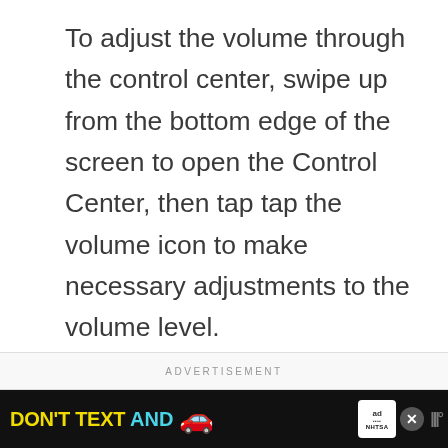To adjust the volume through the control center, swipe up from the bottom edge of the screen to open the Control Center, then tap tap the volume icon to make necessary adjustments to the volume level.
To manage volume through settings, refer to these steps:
ADVERTISEMENT
[Figure (other): Advertisement banner with black background: 'DON'T TEXT AND' in yellow and cyan text with a red car emoji, NHTSA ad badge, close button, and weather app icon]